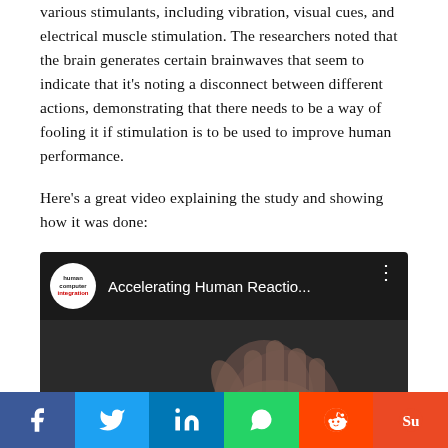various stimulants, including vibration, visual cues, and electrical muscle stimulation. The researchers noted that the brain generates certain brainwaves that seem to indicate that it's noting a disconnect between different actions, demonstrating that there needs to be a way of fooling it if stimulation is to be used to improve human performance.
Here's a great video explaining the study and showing how it was done:
[Figure (screenshot): YouTube video thumbnail showing 'Accelerating Human Reactio...' from the 'human computer integration' channel, with a dark background and a hand visible, and partial text 'did it!' at the bottom left.]
Social share buttons: Facebook, Twitter, LinkedIn, WhatsApp, Reddit, StumbleUpon